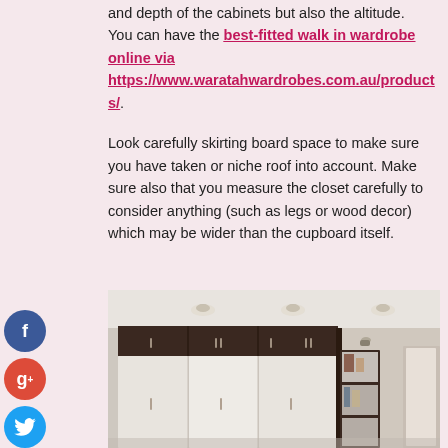and depth of the cabinets but also the altitude. You can have the best-fitted walk in wardrobe online via https://www.waratahwardrobes.com.au/products/.
Look carefully skirting board space to make sure you have taken or niche roof into account. Make sure also that you measure the closet carefully to consider anything (such as legs or wood decor) which may be wider than the cupboard itself.
[Figure (photo): Interior photo of a modern walk-in wardrobe with dark brown upper cabinets and white lower panels, recessed ceiling lights, and a hallway with shelving unit visible on the right.]